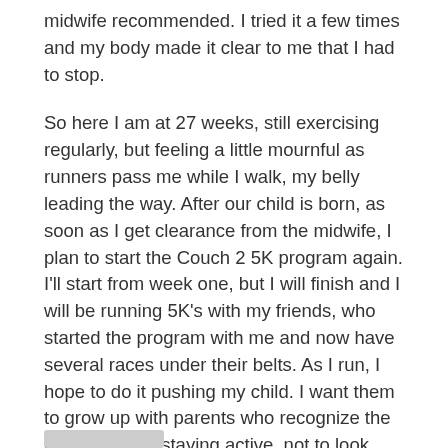midwife recommended. I tried it a few times and my body made it clear to me that I had to stop.
So here I am at 27 weeks, still exercising regularly, but feeling a little mournful as runners pass me while I walk, my belly leading the way. After our child is born, as soon as I get clearance from the midwife, I plan to start the Couch 2 5K program again. I'll start from week one, but I will finish and I will be running 5K's with my friends, who started the program with me and now have several races under their belts. As I run, I hope to do it pushing my child. I want them to grow up with parents who recognize the importance of staying active, not to look good, but to feel good.
Reply